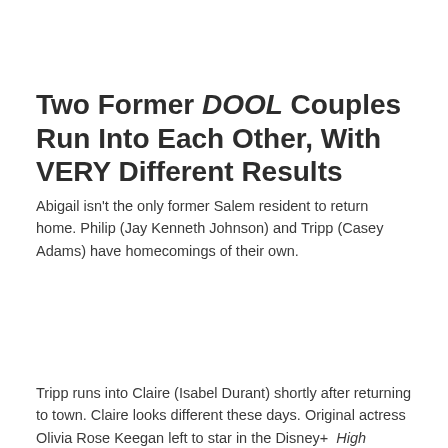Two Former DOOL Couples Run Into Each Other, With VERY Different Results
Abigail isn't the only former Salem resident to return home. Philip (Jay Kenneth Johnson) and Tripp (Casey Adams) have homecomings of their own.
Tripp runs into Claire (Isabel Durant) shortly after returning to town. Claire looks different these days. Original actress Olivia Rose Keegan left to star in the Disney+ High School Musical series. Spoilers indicate that Tripp forgives Claire for her previous dastardly behavior.
Will Belle (Martha Madison) be so forgiving of Philip when...